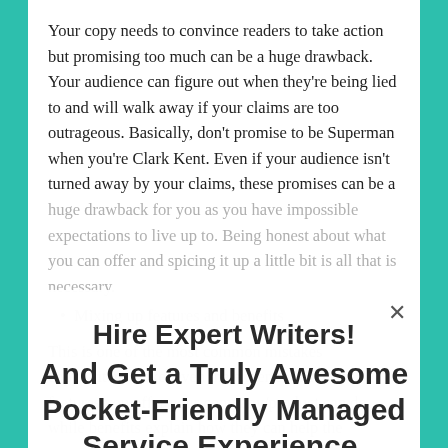Your copy needs to convince readers to take action but promising too much can be a huge drawback. Your audience can figure out when they're being lied to and will walk away if your claims are too outrageous. Basically, don't promise to be Superman when you're Clark Kent. Even if your audience isn't turned away by your claims, these promises can be a huge drawback for you as you have impossible expectations to live up to. Being honest about what you can offer and spicing it up a little bit is all that is necessary.
Mixing up features and benefits
This is one of the most common mistakes copywriters make, even the experienced ones. The features you offer your company/product can do while benefits explain how they can help the consumer. It is important to recognize the difference between the two and write accordingly. Features are usually listed out in bullet points while benefits contain at least 1-2 lines that directly address the pain points. Always focus on convincing the buyer from the...
Hire Expert Writers!
And Get a Truly Awesome Pocket-Friendly Managed Service Experience.
Get Started